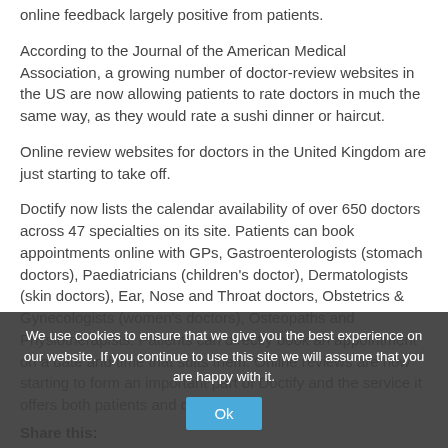online feedback largely positive from patients.
According to the Journal of the American Medical Association, a growing number of doctor-review websites in the US are now allowing patients to rate doctors in much the same way, as they would rate a sushi dinner or haircut.
Online review websites for doctors in the United Kingdom are just starting to take off.
Doctify now lists the calendar availability of over 650 doctors across 47 specialties on its site. Patients can book appointments online with GPs, Gastroenterologists (stomach doctors), Paediatricians (children's doctor), Dermatologists (skin doctors), Ear, Nose and Throat doctors, Obstetrics & Gynecologists (women's doctors), Osteopaths and Physiotherapists. Patients can directly book an appointment on a date and time that suits them. Online reviews are now starting to form an important part of Doctify and the service it offers both patients and doctors.
Share this:
[Figure (illustration): Twitter bird icon (white on teal circle) and Facebook f icon (white on dark blue circle) social share buttons]
We use cookies to ensure that we give you the best experience on our website. If you continue to use this site we will assume that you are happy with it.